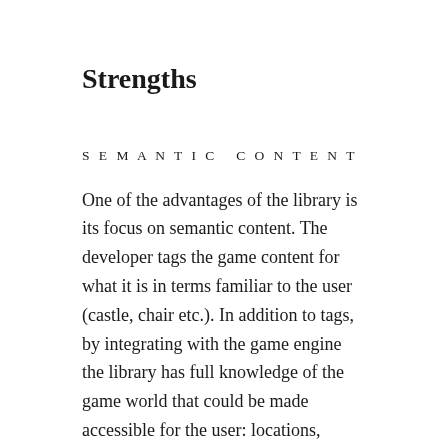Strengths
SEMANTIC CONTENT
One of the advantages of the library is its focus on semantic content. The developer tags the game content for what it is in terms familiar to the user (castle, chair etc.). In addition to tags, by integrating with the game engine the library has full knowledge of the game world that could be made accessible for the user: locations, velocities, colors, animation states (very powerful future feature) and more. The library can then be content-enriched and